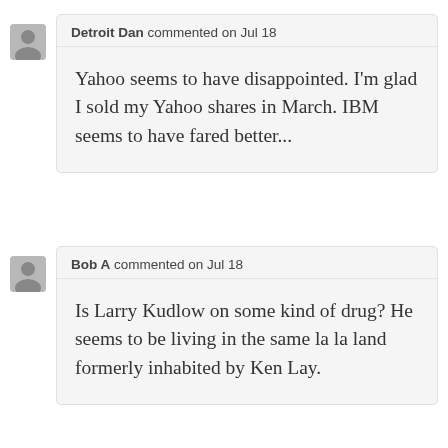Detroit Dan commented on Jul 18
Yahoo seems to have disappointed. I'm glad I sold my Yahoo shares in March. IBM seems to have fared better...
Bob A commented on Jul 18
Is Larry Kudlow on some kind of drug? He seems to be living in the same la la land formerly inhabited by Ken Lay.